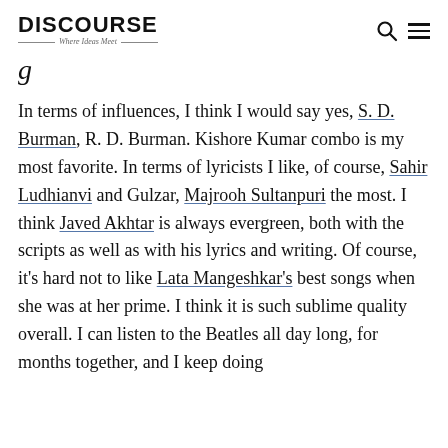DISCOURSE — Where Ideas Meet
g
In terms of influences, I think I would say yes, S. D. Burman, R. D. Burman. Kishore Kumar combo is my most favorite. In terms of lyricists I like, of course, Sahir Ludhianvi and Gulzar, Majrooh Sultanpuri the most. I think Javed Akhtar is always evergreen, both with the scripts as well as with his lyrics and writing. Of course, it's hard not to like Lata Mangeshkar's best songs when she was at her prime. I think it is such sublime quality overall. I can listen to the Beatles all day long, for months together, and I keep doing